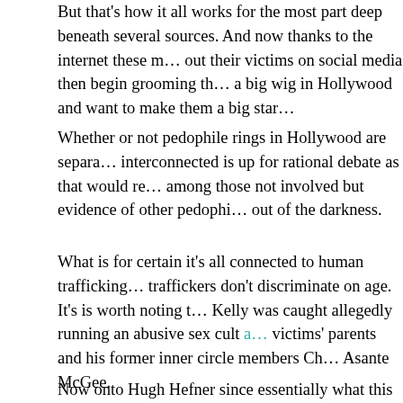But that's how it all works for the most part deep beneath several sources. And now thanks to the internet these m… out their victims on social media then begin grooming th… a big wig in Hollywood and want to make them a big star…
Whether or not pedophile rings in Hollywood are separa… interconnected is up for rational debate as that would re… among those not involved but evidence of other pedophi… out of the darkness.
What is for certain it's all connected to human trafficking… traffickers don't discriminate on age. It's is worth noting t… Kelly was caught allegedly running an abusive sex cult a… victims' parents and his former inner circle members Ch… Asante McGee.
Now onto Hugh Hefner since essentially what this rappe… than what the legend known for objectifying women did … women went in Hefner's case it was to porn studios…